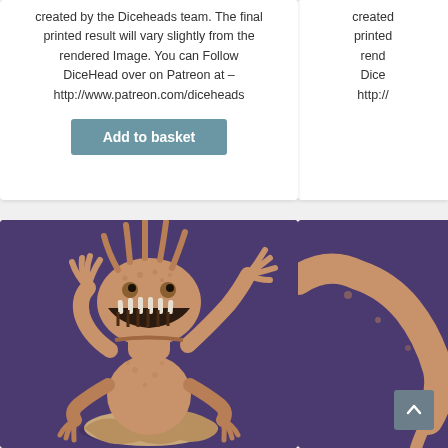created by the Diceheads team. The final printed result will vary slightly from the rendered Image. You can Follow DiceHead over on Patreon at – http://www.patreon.com/diceheads
Add to basket
created printed rend Dice http://
[Figure (photo): 3D printed miniature of a cartoon-style bipedal monster/dinosaur creature with large open mouth showing teeth, spiky body, claws raised, on a purple background]
[Figure (photo): Partial view of another 3D printed miniature figure on a purple background, showing an arm/claw detail]